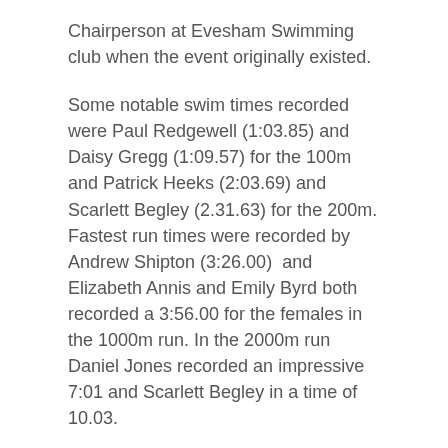Chairperson at Evesham Swimming club when the event originally existed.
Some notable swim times recorded were Paul Redgewell (1:03.85) and Daisy Gregg (1:09.57) for the 100m and Patrick Heeks (2:03.69) and Scarlett Begley (2.31.63) for the 200m. Fastest run times were recorded by Andrew Shipton (3:26.00)  and Elizabeth Annis and Emily Byrd both recorded a 3:56.00 for the females in the 1000m run. In the 2000m run Daniel Jones recorded an impressive 7:01 and Scarlett Begley in a time of 10.03.
Overall winners for each Class were; Ed Norton and Masie Sandalls in the 17-34 age group; Dan Jones and Scarlett Begley in the 15/16 age group, Jack Porter and Emily Byrd in the 13/14 age group; Archie Day and Elizabeth Annis in the  11/12 age group; Harry Porter